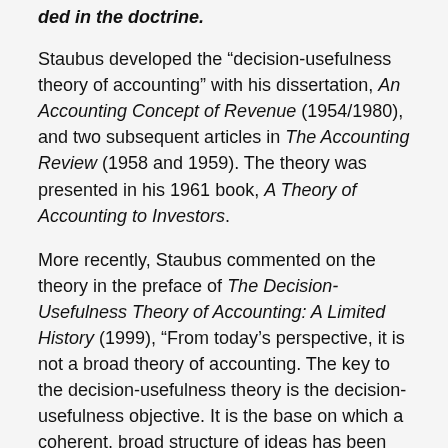ded in the doctrine.
Staubus developed the “decision-usefulness theory of accounting” with his dissertation, An Accounting Concept of Revenue (1954/1980), and two subsequent articles in The Accounting Review (1958 and 1959). The theory was presented in his 1961 book, A Theory of Accounting to Investors.
More recently, Staubus commented on the theory in the preface of The Decision-Usefulness Theory of Accounting: A Limited History (1999), “From today’s perspective, it is not a broad theory of accounting. The key to the decision-usefulness theory is the decision-usefulness objective. It is the base on which a coherent, broad structure of ideas has been built. No other such structure of accounting ideas has been developed, to my knowledge.”
Staubus served on the Haas accounting faculty for 40 years, from 1952 until 1992. Post-retirement, he continued